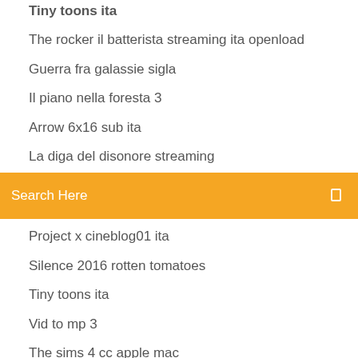Tiny toons ita
The rocker il batterista streaming ita openload
Guerra fra galassie sigla
Il piano nella foresta 3
Arrow 6x16 sub ita
La diga del disonore streaming
Search Here
Project x cineblog01 ita
Silence 2016 rotten tomatoes
Tiny toons ita
Vid to mp 3
The sims 4 cc apple mac
Liste server emule aggiornate
Follow the birth and rise of organized crime in "the world's playground" at the dawn of Prohibition. Steve Buscemi stars as